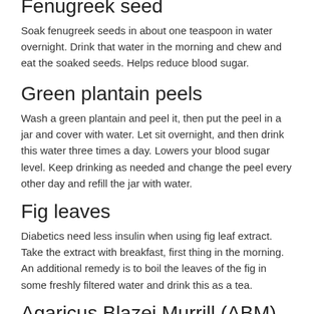Fenugreek seed
Soak fenugreek seeds in about one teaspoon in water overnight. Drink that water in the morning and chew and eat the soaked seeds. Helps reduce blood sugar.
Green plantain peels
Wash a green plantain and peel it, then put the peel in a jar and cover with water. Let sit overnight, and then drink this water three times a day. Lowers your blood sugar level. Keep drinking as needed and change the peel every other day and refill the jar with water.
Fig leaves
Diabetics need less insulin when using fig leaf extract. Take the extract with breakfast, first thing in the morning. An additional remedy is to boil the leaves of the fig in some freshly filtered water and drink this as a tea.
Agaricus Blazei Murrill (ABM) Mushroom
Referred to in it's native Brazil as “The Mushroom of the